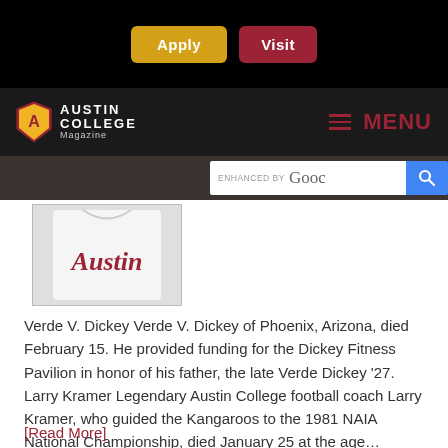[Figure (screenshot): Apply and Visit buttons on black background navigation bar]
[Figure (logo): Austin College Magazine logo with shield emblem and MENU button]
[Figure (screenshot): Enhanced by Google search bar]
[Figure (photo): Person wearing white Austin College jersey]
Verde V. Dickey Verde V. Dickey of Phoenix, Arizona, died February 15. He provided funding for the Dickey Fitness Pavilion in honor of his father, the late Verde Dickey '27. Larry Kramer Legendary Austin College football coach Larry Kramer, who guided the Kangaroos to the 1981 NAIA National Championship, died January 25 at the age…
[Read More]